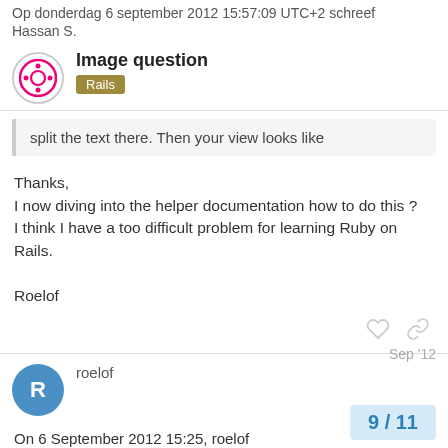Op donderdag 6 september 2012 15:57:09 UTC+2 schreef Hassan S.
Image question
Rails
split the text there. Then your view looks like
Thanks,
I now diving into the helper documentation how to do this ?
I think I have a too difficult problem for learning Ruby on Rails.

Roelof
roelof Sep '12
On 6 September 2012 15:25, roelof
removed_email_address@domain.invalid
9 / 11